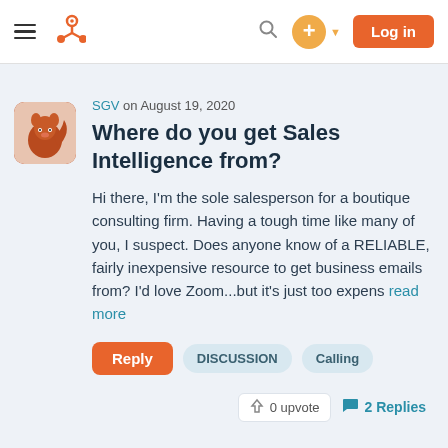[Figure (screenshot): HubSpot community forum navigation bar with hamburger menu, HubSpot logo (orange sprocket), search icon, orange plus button with dropdown arrow, and orange Log in button]
SGV on August 19, 2020
Where do you get Sales Intelligence from?
Hi there, I'm the sole salesperson for a boutique consulting firm. Having a tough time like many of you, I suspect. Does anyone know of a RELIABLE, fairly inexpensive resource to get business emails from? I'd love Zoom...but it's just too expens read more
Reply  DISCUSSION  Calling
0 upvote  2 Replies